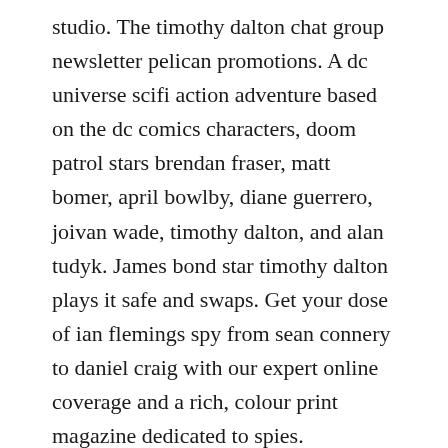studio. The timothy dalton chat group newsletter pelican promotions. A dc universe scifi action adventure based on the dc comics characters, doom patrol stars brendan fraser, matt bomer, april bowlby, diane guerrero, joivan wade, timothy dalton, and alan tudyk. James bond star timothy dalton plays it safe and swaps. Get your dose of ian flemings spy from sean connery to daniel craig with our expert online coverage and a rich, colour print magazine dedicated to spies.
He is best known for portraying james bond in